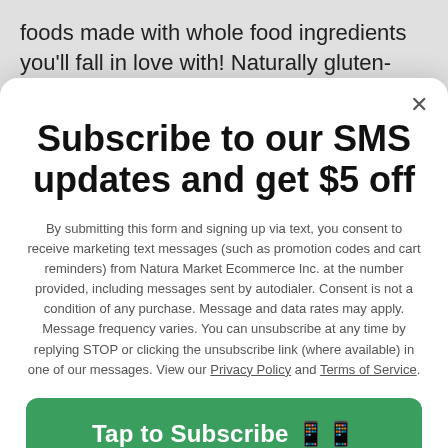foods made with whole food ingredients you'll fall in love with! Naturally gluten-free, paleo-friendly, and non-GMO.
Subscribe to our SMS updates and get $5 off
By submitting this form and signing up via text, you consent to receive marketing text messages (such as promotion codes and cart reminders) from Natura Market Ecommerce Inc. at the number provided, including messages sent by autodialer. Consent is not a condition of any purchase. Message and data rates may apply. Message frequency varies. You can unsubscribe at any time by replying STOP or clicking the unsubscribe link (where available) in one of our messages. View our Privacy Policy and Terms of Service.
Tap to Subscribe 📱📱